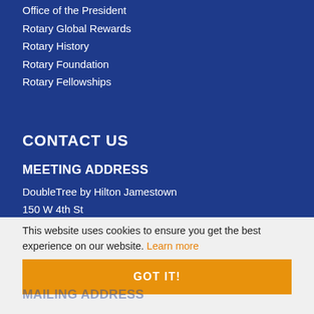Office of the President
Rotary Global Rewards
Rotary History
Rotary Foundation
Rotary Fellowships
CONTACT US
MEETING ADDRESS
DoubleTree by Hilton Jamestown
150 W 4th St
This website uses cookies to ensure you get the best experience on our website. Learn more
GOT IT!
MAILING ADDRESS